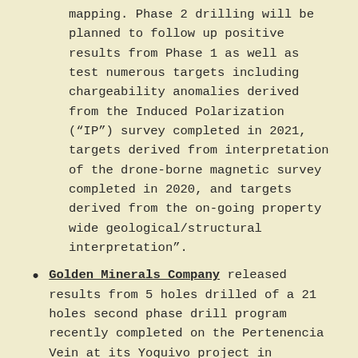mapping. Phase 2 drilling will be planned to follow up positive results from Phase 1 as well as test numerous targets including chargeability anomalies derived from the Induced Polarization (“IP”) survey completed in 2021, targets derived from interpretation of the drone-borne magnetic survey completed in 2020, and targets derived from the on-going property wide geological/structural interpretation”.
Golden Minerals Company released results from 5 holes drilled of a 21 holes second phase drill program recently completed on the Pertenencia Vein at its Yoquivo project in Chihuahua. Highlights include hole YQ-021-002 with 0.51 g/t Au and 706 g/t Ag over 2.4m, plus 016 g/t Au and 91 g/t Ag over 8.5m, including